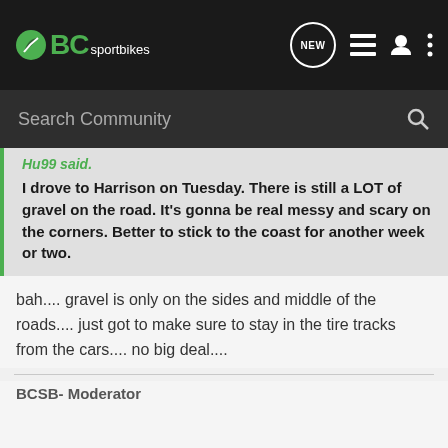BCsportbikes
Search Community
Hu99 said.
I drove to Harrison on Tuesday. There is still a LOT of gravel on the road. It's gonna be real messy and scary on the corners. Better to stick to the coast for another week or two.
bah.... gravel is only on the sides and middle of the roads.... just got to make sure to stay in the tire tracks from the cars.... no big deal....
BCSB- Moderator
LimitedEdition · Registered